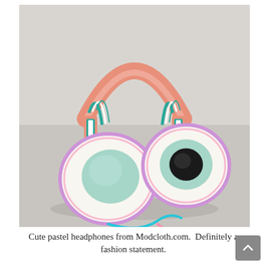[Figure (photo): Colorful pastel headphones with floral-patterned ear cups (white background with flowers in orange, pink, green), coral/salmon pink headband with teal/green accents, mint green ear cushions with light purple trim, and a teal and pink cable. Product photo on a light gray surface.]
Cute pastel headphones from Modcloth.com.  Definitely a fashion statement.